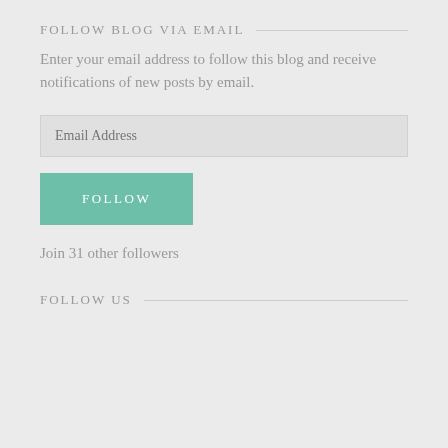FOLLOW BLOG VIA EMAIL
Enter your email address to follow this blog and receive notifications of new posts by email.
Join 31 other followers
FOLLOW US
FIND CARDS BY TYPE